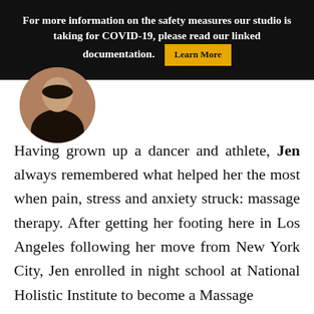For more information on the safety measures our studio is taking for COVID-19, please read our linked documentation. [Learn More]
[Figure (photo): Circular cropped portrait photo of a person, partially visible, against a dark background]
Having grown up a dancer and athlete, Jen always remembered what helped her the most when pain, stress and anxiety struck: massage therapy. After getting her footing here in Los Angeles following her move from New York City, Jen enrolled in night school at National Holistic Institute to become a Massage